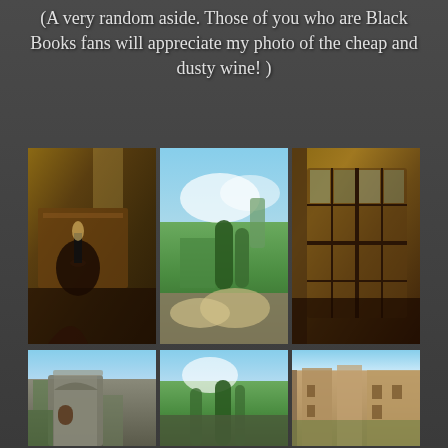(A very random aside. Those of you who are Black Books fans will appreciate my photo of the cheap and dusty wine! )
[Figure (photo): Three-photo collage (top row): left photo shows a dark wooden interior with a candle holder on a table; center photo shows a vineyard/garden view with cypress trees and cloudy sky; right photo shows a grid-paned window with wooden shutters.]
[Figure (photo): Three-photo collage (bottom row): left photo shows a stone medieval tower building with arched doorway and ivy; center photo shows tall cypress trees against blue sky; right photo shows a rustic stone courtyard/building exterior.]